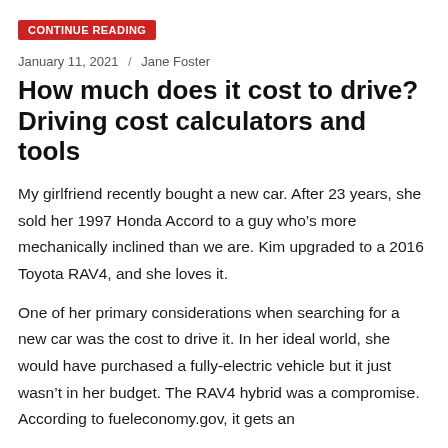Continue Reading
January 11, 2021 / Jane Foster
How much does it cost to drive? Driving cost calculators and tools
My girlfriend recently bought a new car. After 23 years, she sold her 1997 Honda Accord to a guy who’s more mechanically inclined than we are. Kim upgraded to a 2016 Toyota RAV4, and she loves it.
One of her primary considerations when searching for a new car was the cost to drive it. In her ideal world, she would have purchased a fully-electric vehicle but it just wasn’t in her budget. The RAV4 hybrid was a compromise. According to fueleconomy.gov, it gets an